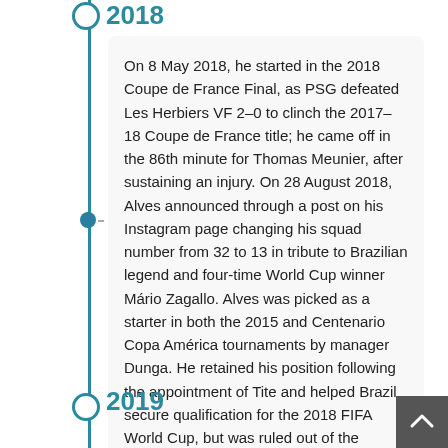2018
On 8 May 2018, he started in the 2018 Coupe de France Final, as PSG defeated Les Herbiers VF 2–0 to clinch the 2017–18 Coupe de France title; he came off in the 86th minute for Thomas Meunier, after sustaining an injury. On 28 August 2018, Alves announced through a post on his Instagram page changing his squad number from 32 to 13 in tribute to Brazilian legend and four-time World Cup winner Mário Zagallo. Alves was picked as a starter in both the 2015 and Centenario Copa América tournaments by manager Dunga. He retained his position following the appointment of Tite and helped Brazil secure qualification for the 2018 FIFA World Cup, but was ruled out of the tournament due to a knee injury suffered in the 2018 Coupe de France Final.
2019